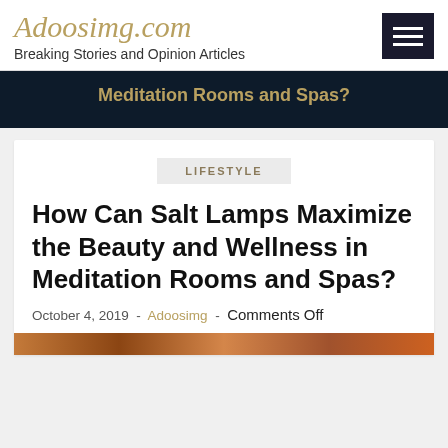Adoosimg.com — Breaking Stories and Opinion Articles
Meditation Rooms and Spas?
LIFESTYLE
How Can Salt Lamps Maximize the Beauty and Wellness in Meditation Rooms and Spas?
October 4, 2019 - Adoosimg - Comments Off
[Figure (photo): Bottom strip image showing warm-toned spa or salt lamp photo]